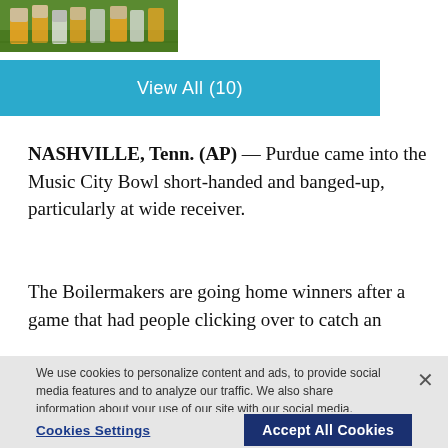[Figure (photo): Partial view of football players on a field, cropped at top of page]
View All (10)
NASHVILLE, Tenn. (AP) — Purdue came into the Music City Bowl short-handed and banged-up, particularly at wide receiver.
The Boilermakers are going home winners after a game that had people clicking over to catch an
We use cookies to personalize content and ads, to provide social media features and to analyze our traffic. We also share information about your use of our site with our social media, advertising and analytics partners. Privacy Policy
Cookies Settings
Accept All Cookies